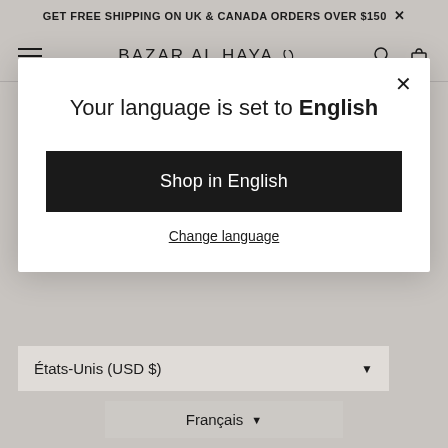GET FREE SHIPPING ON UK & CANADA ORDERS OVER $150 ×
[Figure (screenshot): Navigation bar with hamburger menu, BAZAR AL HAYA brand name with leaf logo, search icon and cart icon]
© BAZAR AL HAYA
Your language is set to English
Shop in English
Change language
États-Unis (USD $)
Français